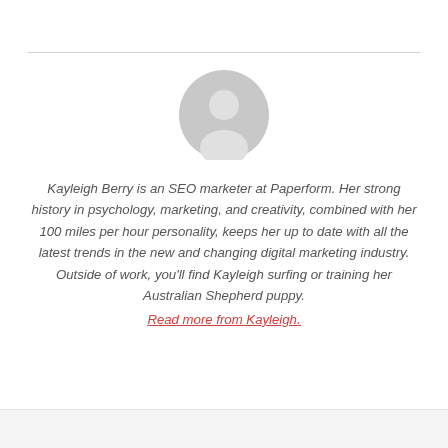[Figure (illustration): Circular grey default avatar/profile placeholder icon showing a silhouette of a person (head and shoulders) in light grey on a slightly lighter grey circle background.]
Kayleigh Berry is an SEO marketer at Paperform. Her strong history in psychology, marketing, and creativity, combined with her 100 miles per hour personality, keeps her up to date with all the latest trends in the new and changing digital marketing industry. Outside of work, you'll find Kayleigh surfing or training her Australian Shepherd puppy. Read more from Kayleigh.